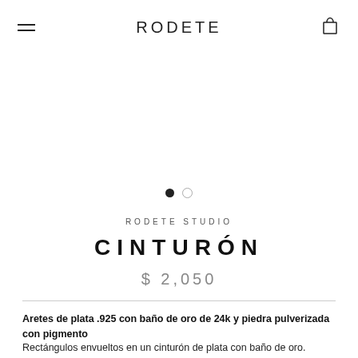RODETE
[Figure (other): Product image carousel area with two navigation dots (one filled, one empty)]
RODETE STUDIO
CINTURÓN
$ 2,050
Aretes de plata .925 con baño de oro de 24k y piedra pulverizada con pigmento
Rectángulos envueltos en un cinturón de plata con baño de oro. Colores disponibles: negro, azul, verde.